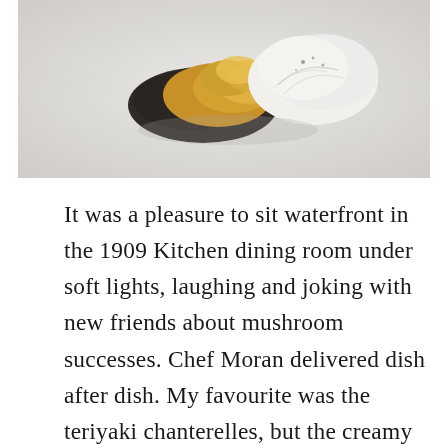[Figure (photo): A close-up photo of assorted wild mushrooms including golden chanterelles and white oyster mushrooms arranged on a white plate against a white background.]
It was a pleasure to sit waterfront in the 1909 Kitchen dining room under soft lights, laughing and joking with new friends about mushroom successes. Chef Moran delivered dish after dish. My favourite was the teriyaki chanterelles, but the creamy sauced-up pizza with fresh shaved pines was incredible too. Dessert featured a surprising pine mushroom snow, showcasing the inventiveness that Moran showed on Top Chef Canada, and continues to every single night in 1909 Kitchen. Did you know...he's a damn good